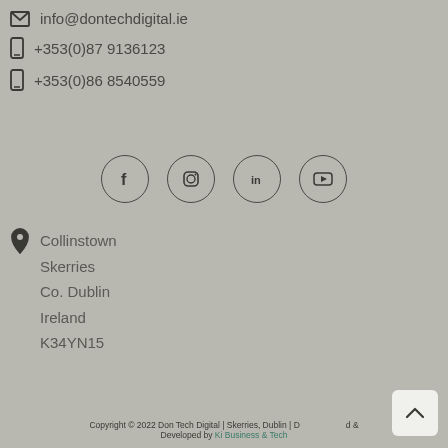info@dontechdigital.ie
+353(0)87 9136123
+353(0)86 8540559
[Figure (infographic): Social media icons in circles: Facebook, Instagram, LinkedIn, YouTube]
Collinstown
Skerries
Co. Dublin
Ireland
K34YN15
Copyright © 2022 Don Tech Digital | Skerries, Dublin | Designed & Developed by Ki Business & Tech